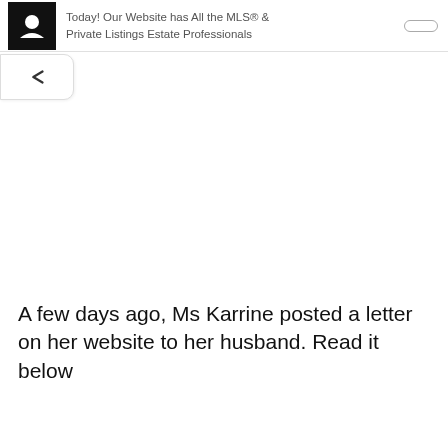Today! Our Website has All the MLS® & Private Listings Estate Professionals
A few days ago, Ms Karrine posted a letter on her website to her husband. Read it below